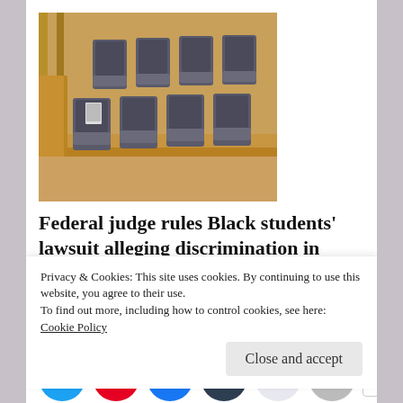[Figure (photo): Empty jury box/courtroom seats with wooden railings and gray office chairs]
Federal judge rules Black students' lawsuit alleging discrimination in school...
The Grio
Go, recruit more book addicts! What? I did not say anything of the sort!
[Figure (infographic): Social sharing buttons: Twitter, Pinterest, Facebook, Tumblr, Reddit, Email, More]
Privacy & Cookies: This site uses cookies. By continuing to use this website, you agree to their use.
To find out more, including how to control cookies, see here: Cookie Policy